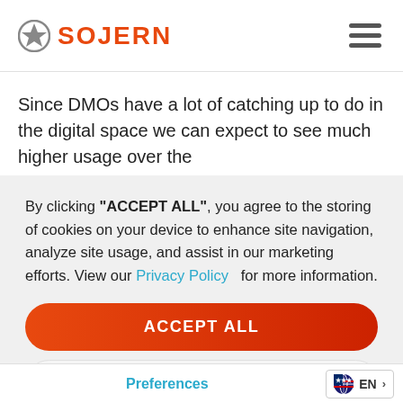SOJERN
Since DMOs have a lot of catching up to do in the digital space we can expect to see much higher usage over the
By clicking "ACCEPT ALL", you agree to the storing of cookies on your device to enhance site navigation, analyze site usage, and assist in our marketing efforts. View our Privacy Policy for more information.
ACCEPT ALL
DENY
Preferences
EN